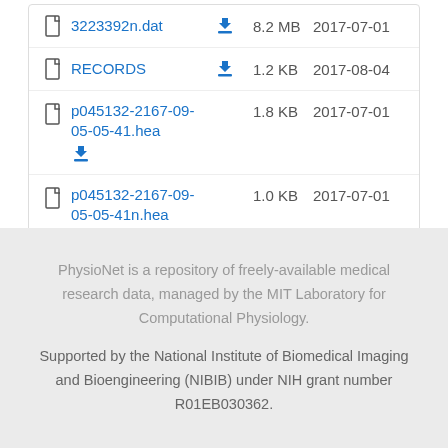3223392n.dat  8.2 MB  2017-07-01
RECORDS  1.2 KB  2017-08-04
p045132-2167-09-05-05-41.hea  1.8 KB  2017-07-01
p045132-2167-09-05-05-41n.hea  1.0 KB  2017-07-01
PhysioNet is a repository of freely-available medical research data, managed by the MIT Laboratory for Computational Physiology.
Supported by the National Institute of Biomedical Imaging and Bioengineering (NIBIB) under NIH grant number R01EB030362.